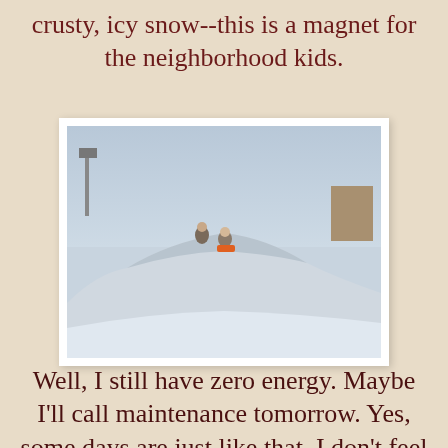crusty, icy snow--this is a magnet for the neighborhood kids.
[Figure (photo): A large snow pile in a parking lot or open area, with two children sitting at the top. A light pole is visible on the left, and a building is visible on the right. The sky is overcast and gray.]
Well, I still have zero energy.  Maybe I'll call maintenance tomorrow.  Yes, some days are just like that.  I don't feel like getting dressed or getting my mail--just